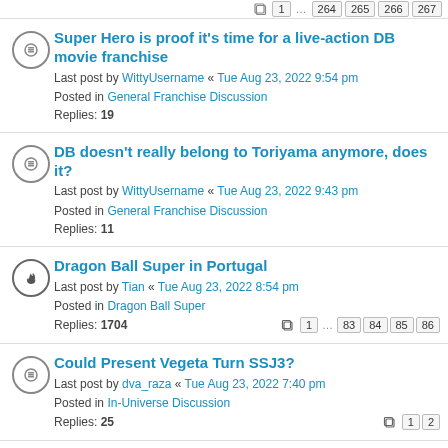1 … 264 265 266 267
Super Hero is proof it's time for a live-action DB movie franchise
Last post by WittyUsername « Tue Aug 23, 2022 9:54 pm
Posted in General Franchise Discussion
Replies: 19
DB doesn't really belong to Toriyama anymore, does it?
Last post by WittyUsername « Tue Aug 23, 2022 9:43 pm
Posted in General Franchise Discussion
Replies: 11
Dragon Ball Super in Portugal
Last post by Tian « Tue Aug 23, 2022 8:54 pm
Posted in Dragon Ball Super
Replies: 1704  1 … 83 84 85 86
Could Present Vegeta Turn SSJ3?
Last post by dva_raza « Tue Aug 23, 2022 7:40 pm
Posted in In-Universe Discussion
Replies: 25  1 2
Fanmanga - DB Multiverse
Last post by Jackalope89 « Tue Aug 23, 2022 6:36 pm
Posted in Fan-Created Works
Replies: 29865  1 … 1491 1492 1493 1494